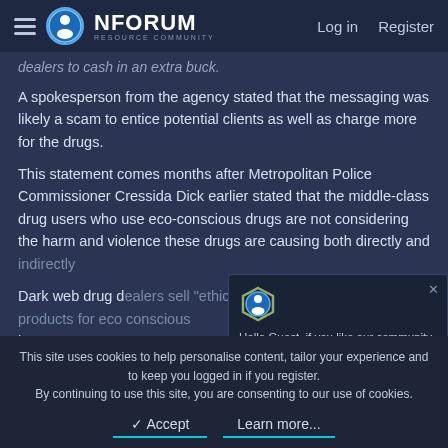NFORUM RESOURCE COMMUNITY — Log in | Register
dealers to cash in an extra buck.
A spokesperson from the agency stated that the messaging was likely a scam to entice potential clients as well as charge more for the drugs.
This statement comes months after Metropolitan Police Commissioner Cressida Dick earlier stated that the middle-class drug users who use eco-conscious drugs are not considering the harm and violence these drugs are causing both directly and indirectly
Dark web drug dealers sell "ethically friendly" and vegan products for eco conscious buyers.
[Figure (screenshot): Popup notification box with nforum logo icon and text: Hello Guest, if you like our community you can always support us by making a small donation or buying an upgrade here]
This site uses cookies to help personalise content, tailor your experience and to keep you logged in if you register. By continuing to use this site, you are consenting to our use of cookies.
✓ Accept  Learn more...